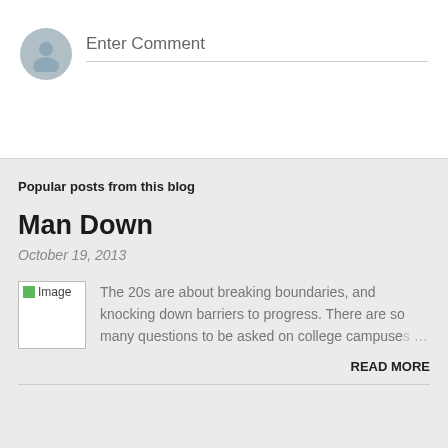Enter Comment
Popular posts from this blog
Man Down
October 19, 2013
[Figure (photo): Placeholder image thumbnail]
The 20s are about breaking boundaries, and knocking down barriers to progress. There are so many questions to be asked on college campuse …
READ MORE